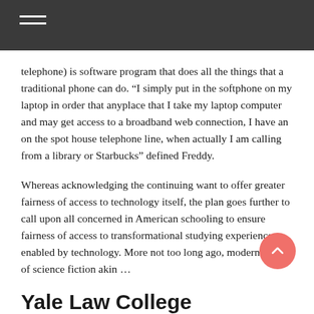telephone) is software program that does all the things that a traditional phone can do. “I simply put in the softphone on my laptop in order that anyplace that I take my laptop computer and may get access to a broadband web connection, I have an on the spot house telephone line, when actually I am calling from a library or Starbucks” defined Freddy.
Whereas acknowledging the continuing want to offer greater fairness of access to technology itself, the plan goes further to call upon all concerned in American schooling to ensure fairness of access to transformational studying experiences enabled by technology. More not too long ago, modern works of science fiction akin …
Yale Law College